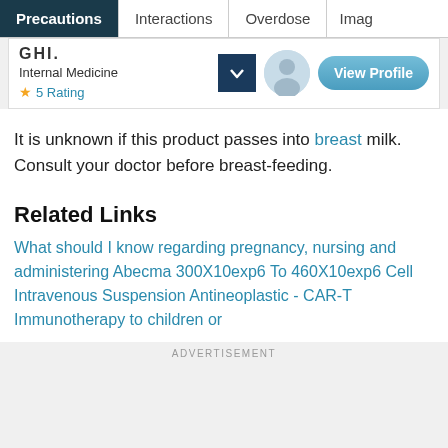Precautions | Interactions | Overdose | Imag
[Figure (screenshot): Doctor profile card showing partial doctor name, Internal Medicine specialty, 5 Rating with star icon, a chevron dropdown button, a circular avatar, and a View Profile button]
It is unknown if this product passes into breast milk. Consult your doctor before breast-feeding.
Related Links
What should I know regarding pregnancy, nursing and administering Abecma 300X10exp6 To 460X10exp6 Cell Intravenous Suspension Antineoplastic - CAR-T Immunotherapy to children or
ADVERTISEMENT